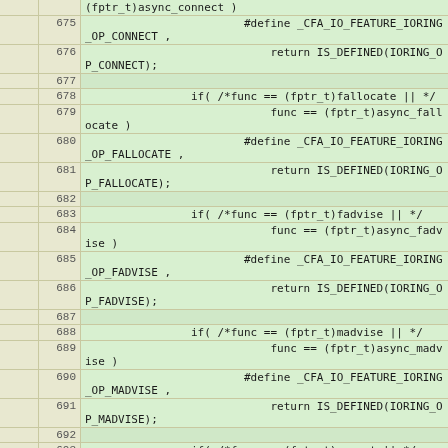|  | line | code |
| --- | --- | --- |
|  |  | (fptr_t)async_connect ) |
|  | 675 |                         #define _CFA_IO_FEATURE_IORING_OP_CONNECT , |
|  | 676 |                         return IS_DEFINED(IORING_OP_CONNECT); |
|  | 677 |  |
|  | 678 |                 if( /*func == (fptr_t)fallocate || */ |
|  | 679 |                         func == (fptr_t)async_fallocate ) |
|  | 680 |                         #define _CFA_IO_FEATURE_IORING_OP_FALLOCATE , |
|  | 681 |                         return IS_DEFINED(IORING_OP_FALLOCATE); |
|  | 682 |  |
|  | 683 |                 if( /*func == (fptr_t)fadvise || */ |
|  | 684 |                         func == (fptr_t)async_fadvise ) |
|  | 685 |                         #define _CFA_IO_FEATURE_IORING_OP_FADVISE , |
|  | 686 |                         return IS_DEFINED(IORING_OP_FADVISE); |
|  | 687 |  |
|  | 688 |                 if( /*func == (fptr_t)madvise || */ |
|  | 689 |                         func == (fptr_t)async_madvise ) |
|  | 690 |                         #define _CFA_IO_FEATURE_IORING_OP_MADVISE , |
|  | 691 |                         return IS_DEFINED(IORING_OP_MADVISE); |
|  | 692 |  |
|  | 693 |                 if( /*func == (fptr_t)openat || */ |